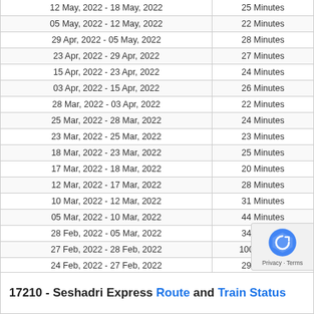| Date Range | Duration |
| --- | --- |
| 12 May, 2022 - 18 May, 2022 | 25 Minutes |
| 05 May, 2022 - 12 May, 2022 | 22 Minutes |
| 29 Apr, 2022 - 05 May, 2022 | 28 Minutes |
| 23 Apr, 2022 - 29 Apr, 2022 | 27 Minutes |
| 15 Apr, 2022 - 23 Apr, 2022 | 24 Minutes |
| 03 Apr, 2022 - 15 Apr, 2022 | 26 Minutes |
| 28 Mar, 2022 - 03 Apr, 2022 | 22 Minutes |
| 25 Mar, 2022 - 28 Mar, 2022 | 24 Minutes |
| 23 Mar, 2022 - 25 Mar, 2022 | 23 Minutes |
| 18 Mar, 2022 - 23 Mar, 2022 | 25 Minutes |
| 17 Mar, 2022 - 18 Mar, 2022 | 20 Minutes |
| 12 Mar, 2022 - 17 Mar, 2022 | 28 Minutes |
| 10 Mar, 2022 - 12 Mar, 2022 | 31 Minutes |
| 05 Mar, 2022 - 10 Mar, 2022 | 44 Minutes |
| 28 Feb, 2022 - 05 Mar, 2022 | 34 Minutes |
| 27 Feb, 2022 - 28 Feb, 2022 | 100 Minutes |
| 24 Feb, 2022 - 27 Feb, 2022 | 29 Minutes |
| 22 Feb, 2022 - 24 Feb, 2022 | 35 Minutes |
| 22 Feb, 2022 | 32 Minutes |
Stats Date range: 22 Feb, 2022 to 20 Aug, 2022
17210 - Seshadri Express Route and Train Status